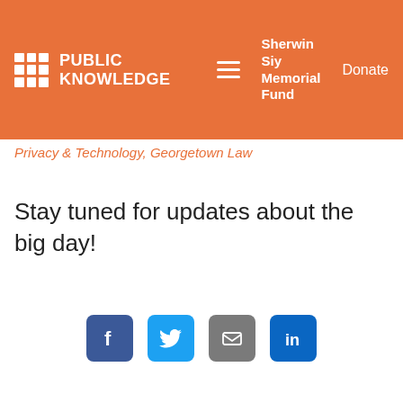PUBLIC KNOWLEDGE | Sherwin Siy Memorial Fund | Donate
Privacy & Technology, Georgetown Law
Stay tuned for updates about the big day!
[Figure (infographic): Row of four social sharing icons: Facebook (dark blue), Twitter (light blue), Email (grey), LinkedIn (dark blue)]